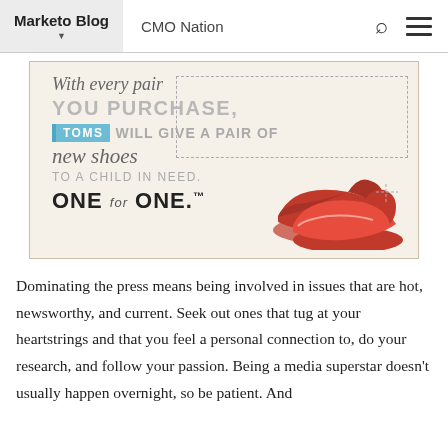Marketo Blog | CMO Nation
[Figure (photo): TOMS shoes advertisement image: 'With every pair YOU PURCHASE, TOMS WILL GIVE A PAIR OF new shoes TO A CHILD IN NEED. ONE for ONE.' with red TOMS shoes shown.]
Dominating the press means being involved in issues that are hot, newsworthy, and current. Seek out ones that tug at your heartstrings and that you feel a personal connection to, do your research, and follow your passion. Being a media superstar doesn't usually happen overnight, so be patient. And